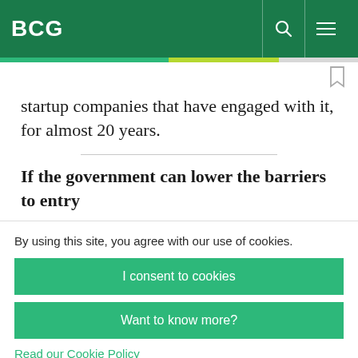BCG
startup companies that have engaged with it, for almost 20 years.
If the government can lower the barriers to entry
By using this site, you agree with our use of cookies.
I consent to cookies
Want to know more?
Read our Cookie Policy